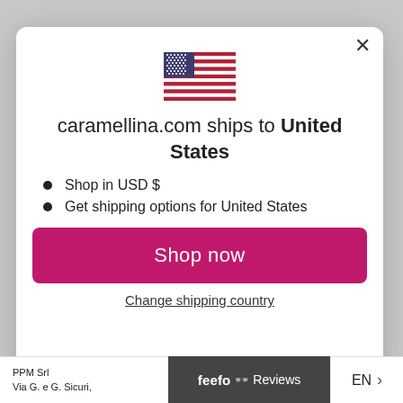[Figure (illustration): US flag emoji/icon centered at top of modal dialog]
caramellina.com ships to United States
Shop in USD $
Get shipping options for United States
Shop now
Change shipping country
PPM Srl
Via G. e G. Sicuri,
feefo Reviews
EN >